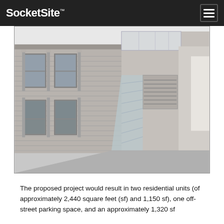SocketSite™
[Figure (illustration): Architectural rendering of a street-facing building facade showing a Victorian-era building on the left with bay windows and classical detailing, and a modern addition on the right featuring concrete and glass construction with a glazed corner element and louvered panel, rendered in grayscale.]
The proposed project would result in two residential units (of approximately 2,440 square feet (sf) and 1,150 sf), one off-street parking space, and an approximately 1,320 sf